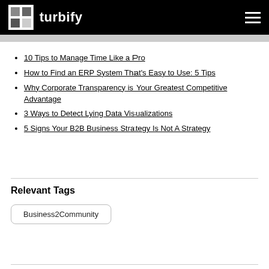turbify
10 Tips to Manage Time Like a Pro
How to Find an ERP System That's Easy to Use: 5 Tips
Why Corporate Transparency is Your Greatest Competitive Advantage
3 Ways to Detect Lying Data Visualizations
5 Signs Your B2B Business Strategy Is Not A Strategy
Relevant Tags
Business2Community